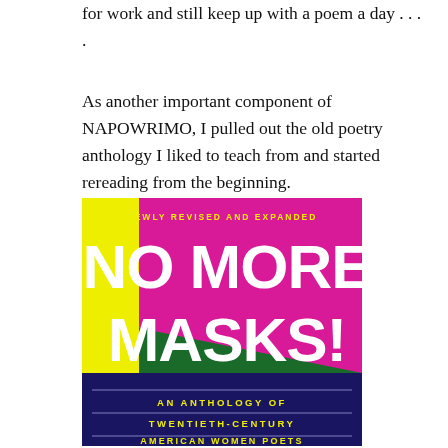for work and still keep up with a poem a day . . . .
As another important component of NAPOWRIMO, I pulled out the old poetry anthology I liked to teach from and started rereading from the beginning.
[Figure (photo): Book cover of 'No More Masks! An Anthology of Twentieth-Century American Women Poets' — newly revised and expanded edition. Cover features bold white text on a green and magenta geometric background with a yellow stripe on the left side, and a dark navy blue banner at the bottom with the subtitle text.]